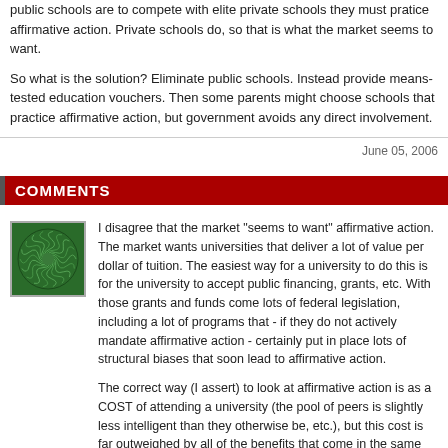public schools are to compete with elite private schools they must pratice affirmative action.  Private schools do, so that is what the market seems to want.
So what is the solution?  Eliminate public schools.  Instead provide means-tested education vouchers.    Then some parents might choose schools that practice affirmative action, but government avoids any direct involvement.
June 05, 2006
COMMENTS
[Figure (illustration): Green spiral decorative avatar image]
I disagree that the market "seems to want" affirmative action. The market wants universities that deliver a lot of value per dollar of tuition. The easiest way for a university to do this is for the university to accept public financing, grants, etc. With those grants and funds come lots of federal legislation, including a lot of programs that - if they do not actively mandate affirmative action - certainly put in place lots of structural biases that soon lead to affirmative action.

The correct way (I assert) to look at affirmative action is as a COST of attending a university (the pool of peers is slightly less intelligent than they otherwise be, etc.), but this cost is far outweighed by all of the benefits that come in the same package (federally funded research libraries, good professors with grants, etc.).